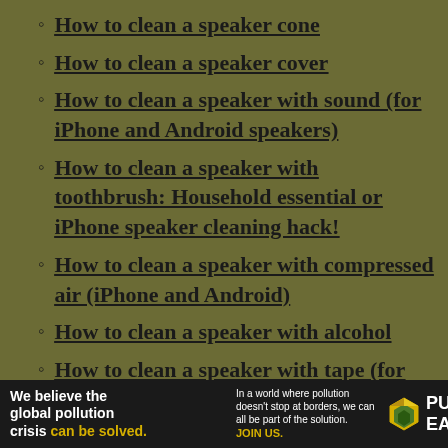How to clean a speaker cone
How to clean a speaker cover
How to clean a speaker with sound (for iPhone and Android speakers)
How to clean a speaker with toothbrush: Household essential or iPhone speaker cleaning hack!
How to clean a speaker with compressed air (iPhone and Android)
How to clean a speaker with alcohol
How to clean a speaker with tape (for
[Figure (infographic): Pure Earth advertisement banner: 'We believe the global pollution crisis can be solved.' with tagline about pollution not stopping at borders and JOIN US call to action, Pure Earth logo.]